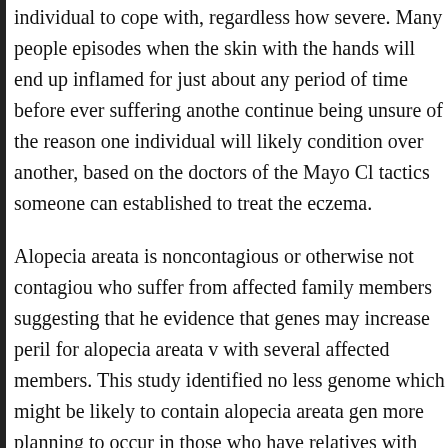individual to cope with, regardless how severe. Many people episodes when the skin with the hands will end up inflamed for just about any period of time before ever suffering anothe continue being unsure of the reason one individual will likely condition over another, based on the doctors of the Mayo Cl tactics someone can established to treat the eczema.
Alopecia areata is noncontagious or otherwise not contagiou who suffer from affected family members suggesting that he evidence that genes may increase peril for alopecia areata v with several affected members. This study identified no less genome which might be likely to contain alopecia areata gen more planning to occur in those who have relatives with auto
Hand eczema can be an extremely troublesome and infrequ person to contend with, it doesn't matter how severe. Many periodic episodes in which the skin with the hands can be in subside for virtually any period of time before ever suffering